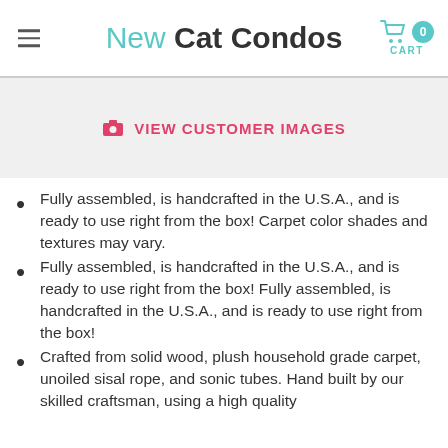New Cat Condos
VIEW CUSTOMER IMAGES
Fully assembled, is handcrafted in the U.S.A., and is ready to use right from the box! Carpet color shades and textures may vary.
Fully assembled, is handcrafted in the U.S.A., and is ready to use right from the box! Fully assembled, is handcrafted in the U.S.A., and is ready to use right from the box!
Crafted from solid wood, plush household grade carpet, unoiled sisal rope, and sonic tubes. Hand built by our skilled craftsman, using a high quality